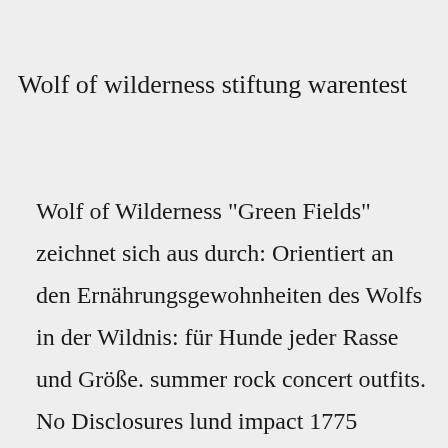Wolf of wilderness stiftung warentest
Wolf of Wilderness "Green Fields" zeichnet sich aus durch: Orientiert an den Ernährungsgewohnheiten des Wolfs in der Wildnis: für Hunde jeder Rasse und Größe. summer rock concert outfits. No Disclosures lund impact 1775 bavaria